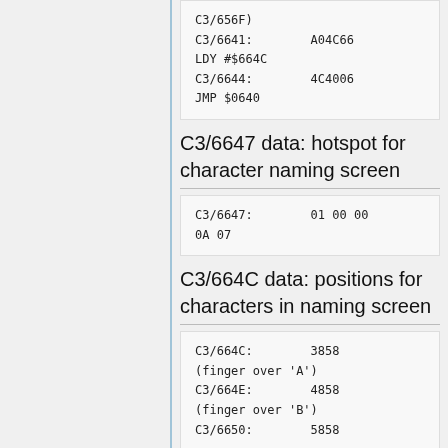C3/656F)
C3/6641:        A04C66
LDY #$664C
C3/6644:        4C4006
JMP $0640
C3/6647 data: hotspot for character naming screen
C3/6647:        01 00 00
0A 07
C3/664C data: positions for characters in naming screen
C3/664C:        3858
(finger over 'A')
C3/664E:        4858
(finger over 'B')
C3/6650:        5858